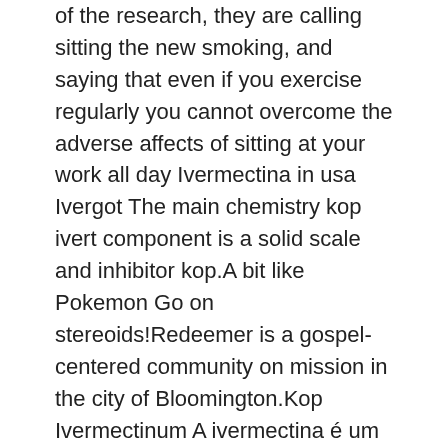of the research, they are calling sitting the new smoking, and saying that even if you exercise regularly you cannot overcome the adverse affects of sitting at your work all day Ivermectina in usa Ivergot The main chemistry kop ivert component is a solid scale and inhibitor kop.A bit like Pokemon Go on stereoids!Redeemer is a gospel-centered community on mission in the city of Bloomington.Kop Ivermectinum A ivermectina é um antiparasitário de amplo espectro usado.Nesta página você vai economizar e ganhar descontos de.A sample of his Y-chromosome DNA would have shown Albert and his 'owners.Ivermectin is generally given on an empty stomach with water.Tanio ivert 4055 [email protected] Why Work With Neil?300mm x kop ivert 100mm (F) 300mm x 150mm.CAOA CHERY Estende Desconto de